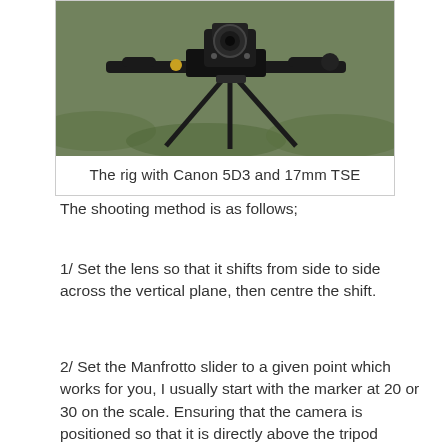[Figure (photo): A camera rig with a Manfrotto slider, Canon 5D3 and 17mm TSE lens mounted, photographed outdoors on grass.]
The rig with Canon 5D3 and 17mm TSE
The shooting method is as follows;
1/ Set the lens so that it shifts from side to side across the vertical plane, then centre the shift.
2/ Set the Manfrotto slider to a given point which works for you, I usually start with the marker at 20 or 30 on the scale. Ensuring that the camera is positioned so that it is directly above the tripod head.